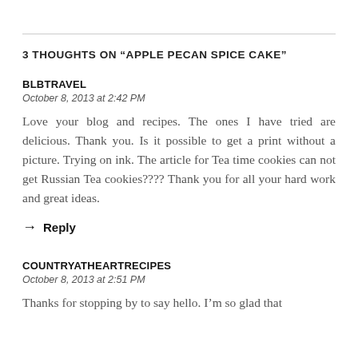3 THOUGHTS ON "APPLE PECAN SPICE CAKE"
BLBTRAVEL
October 8, 2013 at 2:42 PM
Love your blog and recipes. The ones I have tried are delicious. Thank you. Is it possible to get a print without a picture. Trying on ink. The article for Tea time cookies can not get Russian Tea cookies???? Thank you for all your hard work and great ideas.
→ Reply
COUNTRYATHEARTRECIPES
October 8, 2013 at 2:51 PM
Thanks for stopping by to say hello. I'm so glad that